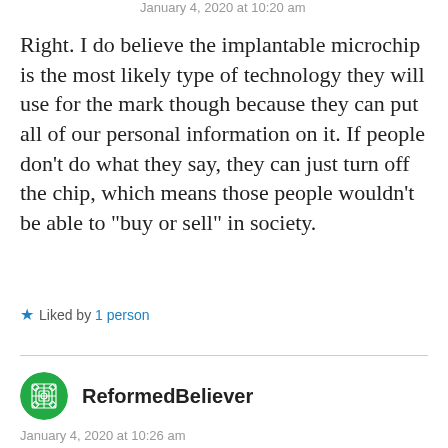January 4, 2020 at 10:20 am
Right. I do believe the implantable microchip is the most likely type of technology they will use for the mark though because they can put all of our personal information on it. If people don’t do what they say, they can just turn off the chip, which means those people wouldn’t be able to “buy or sell” in society.
Liked by 1 person
ReformedBeliever
January 4, 2020 at 10:26 am